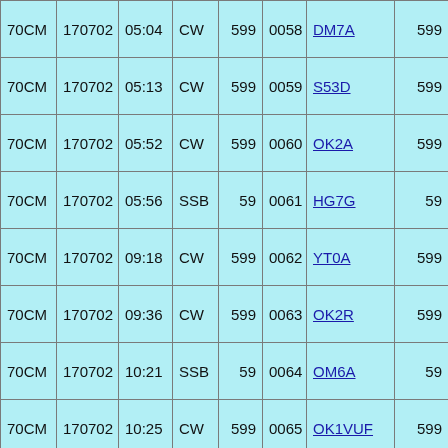| 70CM | 170702 | 05:04 | CW | 599 | 0058 | DM7A | 599 |
| 70CM | 170702 | 05:13 | CW | 599 | 0059 | S53D | 599 |
| 70CM | 170702 | 05:52 | CW | 599 | 0060 | OK2A | 599 |
| 70CM | 170702 | 05:56 | SSB | 59 | 0061 | HG7G | 59 |
| 70CM | 170702 | 09:18 | CW | 599 | 0062 | YT0A | 599 |
| 70CM | 170702 | 09:36 | CW | 599 | 0063 | OK2R | 599 |
| 70CM | 170702 | 10:21 | SSB | 59 | 0064 | OM6A | 59 |
| 70CM | 170702 | 10:25 | CW | 599 | 0065 | OK1VUF | 599 |